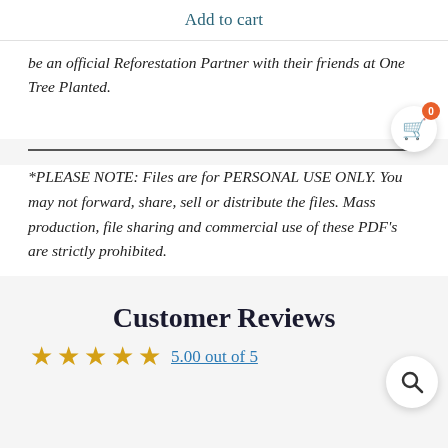Add to cart
be an official Reforestation Partner with their friends at One Tree Planted.
*PLEASE NOTE: Files are for PERSONAL USE ONLY. You may not forward, share, sell or distribute the files. Mass production, file sharing and commercial use of these PDF's are strictly prohibited.
Customer Reviews
5.00 out of 5